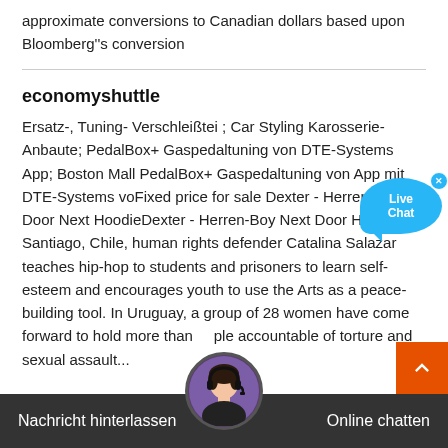approximate conversions to Canadian dollars based upon Bloomberg''s conversion
economyshuttle
Ersatz-, Tuning- Verschleißtei ; Car Styling Karosserie-Anbaute; PedalBox+ Gaspedaltuning von DTE-Systems App; Boston Mall PedalBox+ Gaspedaltuning von App mit DTE-Systems voFixed price for sale Dexter - Herren-Boy Door Next HoodieDexter - Herren-Boy Next Door Hoodie. In Santiago, Chile, human rights defender Catalina Salazar teaches hip-hop to students and prisoners to learn self-esteem and encourages youth to use the Arts as a peace-building tool. In Uruguay, a group of 28 women have come forward to hold more than people accountable of torture and sexual assault...
[Figure (screenshot): Live Chat bubble (teal) with close button in top right corner]
[Figure (screenshot): Orange scroll-to-top button with white chevron arrow]
[Figure (screenshot): Dark bottom bar with 'Nachricht hinterlassen' on left and 'Online chatten' on right, with customer service avatar in center]